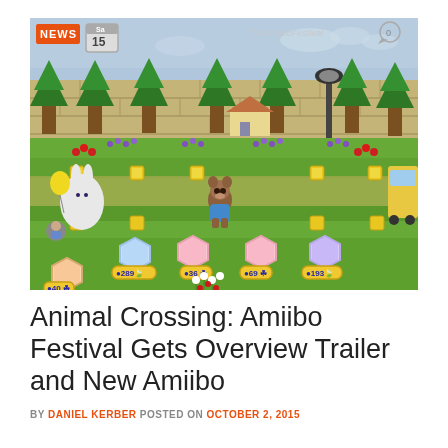[Figure (screenshot): Animal Crossing: Amiibo Festival gameplay screenshot showing a top-down board game view with colorful game board spaces, a raccoon character in the center, trees in the background, a stone wall, flower decorations, item tokens at the bottom showing values 289, 36, 69, 193, and 40. A NEWS badge is in the top-left corner with a calendar icon showing 'Sa', and a comment bubble showing '0' in the top right. The hashtag #ACamiboFestival appears near the top right.]
Animal Crossing: Amiibo Festival Gets Overview Trailer and New Amiibo
BY DANIEL KERBER POSTED ON OCTOBER 2, 2015